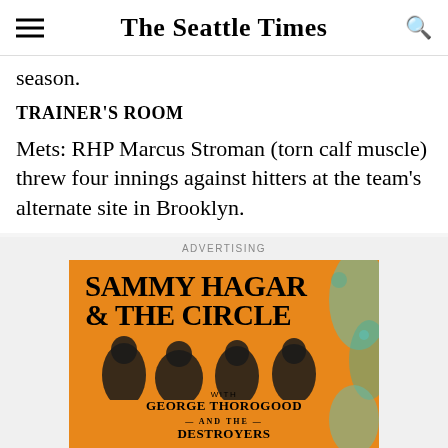The Seattle Times
season.
TRAINER'S ROOM
Mets: RHP Marcus Stroman (torn calf muscle) threw four innings against hitters at the team's alternate site in Brooklyn.
ADVERTISING
[Figure (illustration): Advertisement for Sammy Hagar & The Circle with George Thorogood and The Destroyers, featuring band members against an orange background with teal splatter accents.]